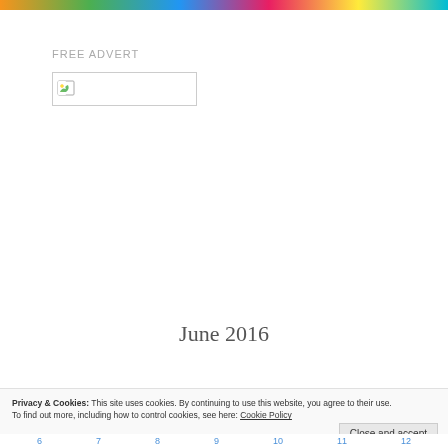[Figure (illustration): Colorful banner strip at top of page with green, blue, orange, pink, and yellow colors]
FREE ADVERT
[Figure (photo): Broken image placeholder icon with small leaf/image icon on left and empty white space]
June 2016
Privacy & Cookies: This site uses cookies. By continuing to use this website, you agree to their use.
To find out more, including how to control cookies, see here: Cookie Policy
Close and accept
6   7   8   9   10   11   12